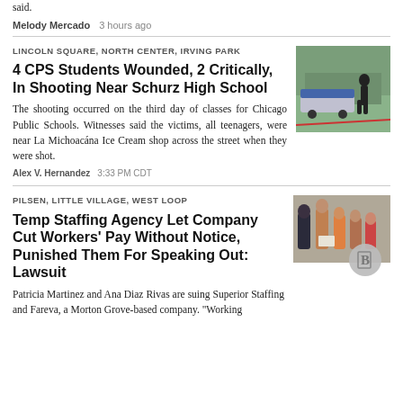said.
Melody Mercado   3 hours ago
LINCOLN SQUARE, NORTH CENTER, IRVING PARK
4 CPS Students Wounded, 2 Critically, In Shooting Near Schurz High School
The shooting occurred on the third day of classes for Chicago Public Schools. Witnesses said the victims, all teenagers, were near La Michoacána Ice Cream shop across the street when they were shot.
Alex V. Hernandez   3:33 PM CDT
[Figure (photo): Police officer standing near police vehicle on street]
PILSEN, LITTLE VILLAGE, WEST LOOP
Temp Staffing Agency Let Company Cut Workers' Pay Without Notice, Punished Them For Speaking Out: Lawsuit
Patricia Martinez and Ana Diaz Rivas are suing Superior Staffing and Fareva, a Morton Grove-based company. "Working
[Figure (photo): Group of people at press conference, with B logo watermark]